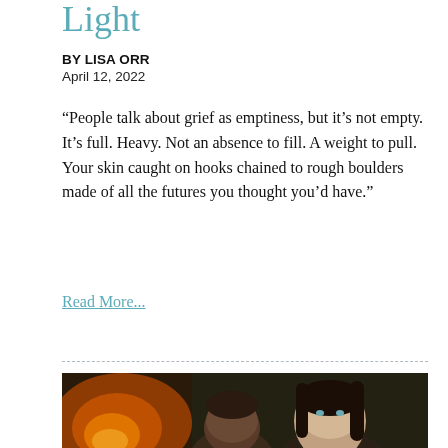Light
BY LISA ORR
April 12, 2022
“People talk about grief as emptiness, but it’s not empty. It’s full. Heavy. Not an absence to fill. A weight to pull. Your skin caught on hooks chained to rough boulders made of all the futures you thought you’d have.”
Read More...
[Figure (photo): Photo of a woman and young boy, likely a mother and child, posed together. The woman has long dark hair and the boy has short dark hair. A warm fireplace glow is visible in the background.]